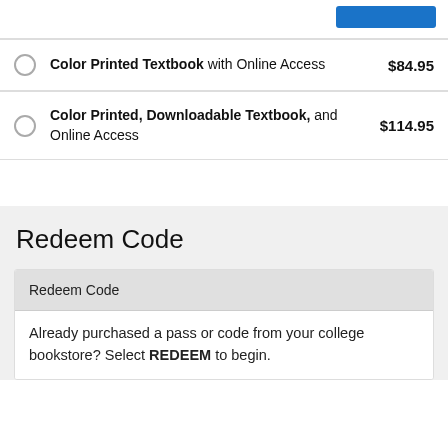[Figure (other): Blue button in top right corner]
Color Printed Textbook with Online Access $84.95
Color Printed, Downloadable Textbook, and Online Access $114.95
Redeem Code
Redeem Code
Already purchased a pass or code from your college bookstore? Select REDEEM to begin.